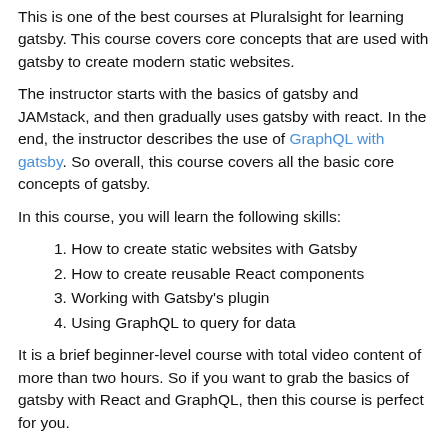This is one of the best courses at Pluralsight for learning gatsby. This course covers core concepts that are used with gatsby to create modern static websites.
The instructor starts with the basics of gatsby and JAMstack, and then gradually uses gatsby with react. In the end, the instructor describes the use of GraphQL with gatsby. So overall, this course covers all the basic core concepts of gatsby.
In this course, you will learn the following skills:
1. How to create static websites with Gatsby
2. How to create reusable React components
3. Working with Gatsby's plugin
4. Using GraphQL to query for data
It is a brief beginner-level course with total video content of more than two hours. So if you want to grab the basics of gatsby with React and GraphQL, then this course is perfect for you.